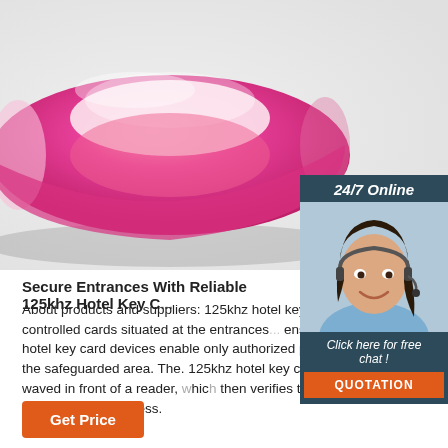[Figure (photo): Pink silicone wristband/ring product photo on light background]
[Figure (infographic): 24/7 Online chat box with customer service agent photo, 'Click here for free chat!' text and orange QUOTATION button]
Secure Entrances With Reliable 125khz Hotel Key C...
About products and suppliers: 125khz hotel key card... computer-controlled cards situated at the entrances... ensure security..125khz hotel key card devices enable only authorized person to enter into the safeguarded area. The. 125khz hotel key card can be swiped or waved in front of a reader, which then verifies the information before allowing access.
[Figure (logo): TOP badge with paw prints]
Get Price